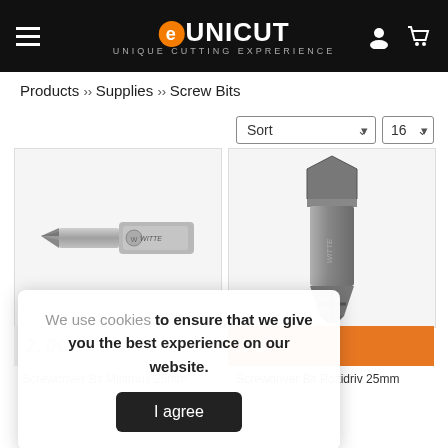[Figure (screenshot): eUNICUT website header with logo, hamburger menu, user icon, and cart icon on black background]
Products › Supplies › Screw Bits
[Figure (screenshot): Sort dropdown and 16 per page dropdown controls]
[Figure (photo): Witte brand Phillips screwdriver bit, horizontal orientation, metallic gray]
[Figure (photo): Witte brand Pozidriv screwdriver bit, angled vertical orientation, metallic gray]
3 €
Screwdriver Bit Minimus 25mm
Screwdriver Bit Pozidriv 25mm
We use cookies to ensure that we give you the best experience on our website.
I agree